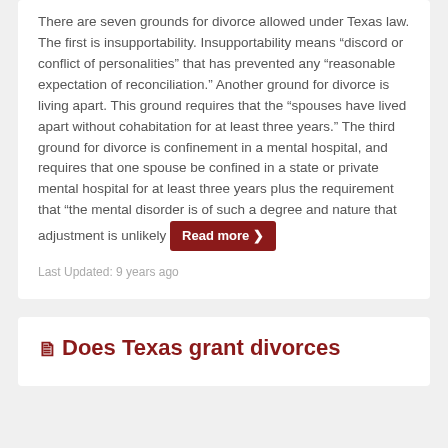There are seven grounds for divorce allowed under Texas law. The first is insupportability. Insupportability means “discord or conflict of personalities” that has prevented any “reasonable expectation of reconciliation.” Another ground for divorce is living apart. This ground requires that the “spouses have lived apart without cohabitation for at least three years.” The third ground for divorce is confinement in a mental hospital, and requires that one spouse be confined in a state or private mental hospital for at least three years plus the requirement that “the mental disorder is of such a degree and nature that adjustment is unlikely
Last Updated: 9 years ago
Does Texas grant divorces